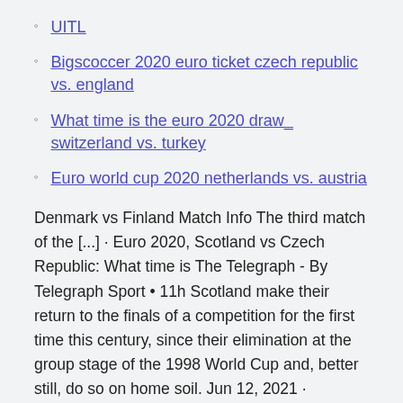UITL
Bigscoccer 2020 euro ticket czech republic vs. england
What time is the euro 2020 draw_ switzerland vs. turkey
Euro world cup 2020 netherlands vs. austria
Denmark vs Finland Match Info The third match of the [...] · Euro 2020, Scotland vs Czech Republic: What time is The Telegraph - By Telegraph Sport • 11h Scotland make their return to the finals of a competition for the first time this century, since their elimination at the group stage of the 1998 World Cup and, better still, do so on home soil. Jun 12, 2021 · Denmark will be looking to make an immediate impact in the opening game of the